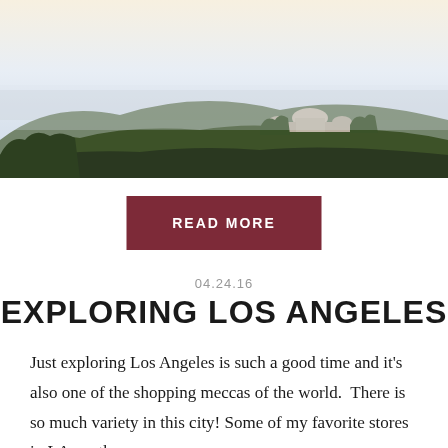[Figure (photo): Panoramic photo of Griffith Observatory on a hillside in Los Angeles with city views in the background under a hazy sky]
READ MORE
04.24.16
EXPLORING LOS ANGELES
Just exploring Los Angeles is such a good time and it’s also one of the shopping meccas of the world.  There is so much variety in this city! Some of my favorite stores in LA are the